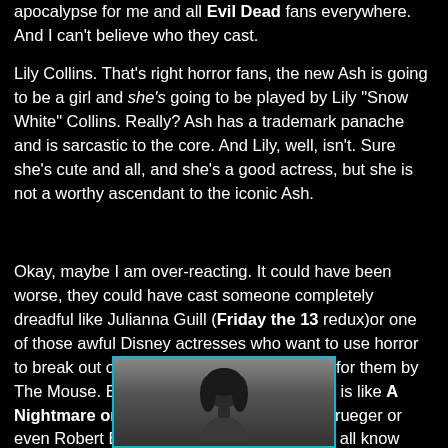apocalypse for me and all Evil Dead fans everywhere. And I can't believe who they cast.
Lily Collins. That's right horror fans, the new Ash is going to be a girl and she's going to be played by Lily "Snow White" Collins. Really? Ash has a trademark panache and is sarcastic to the core. And Lily, well, isn't. Sure she's cute and all, and she's a good actress, but she is not a worthy ascendant to the iconic Ash.
Okay, maybe I am over-reacting. It could have been worse, they could have cast someone completely dreadful like Julianna Guill (Friday the 13 redux)or one of those awful Disney actresses who want to use horror to break out of the saccharine mold created for them by The Mouse. But still, Evil Dead with out Ash is like A Nightmare on Elm Street without Freddy Krueger or even Robert Englund. It's unimaginable. We all know how well Jackie Earle Haley worked out as Freddy.
[Figure (photo): Photo of a dark-haired woman (Lily Collins) against a gray background, shown from shoulders up, framed with a cyan/teal border]